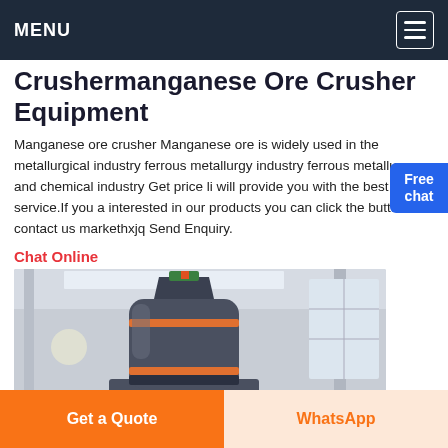MENU
Crushermanganese Ore Crusher Equipment
Manganese ore crusher Manganese ore is widely used in the metallurgical industry ferrous metallurgy industry ferrous metallurgy and chemical industry Get price li will provide you with the best quality service.If you a interested in our products you can click the button and contact us markethxjq Send Enquiry.
Chat Online
[Figure (photo): Industrial machine (crusher/mill) inside a factory warehouse, large cylindrical grey machine with orange/red bands, high ceiling with skylights and windows]
Get a Quote
WhatsApp